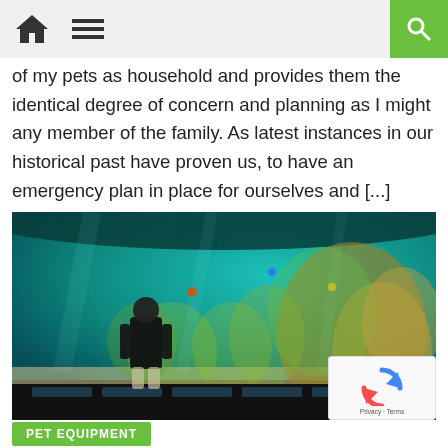navigation bar with home icon, menu icon, search button
of my pets as household and provides them the identical degree of concern and planning as I might any member of the family. As latest instances in our historical past have proven us, to have an emergency plan in place for ourselves and [...]
[Figure (photo): Person standing in front of a large curved aquarium tank filled with colorful coral reefs and fish, viewed from behind in a dark exhibit room]
PET EQUIPMENT